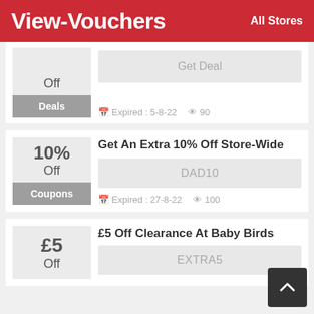View-Vouchers   All Stores
Off
Deals
Get Deal
Expired : 5-8-22   90
10% Off
Coupons
Get An Extra 10% Off Store-Wide
DAD10
Expired : 27-8-22   100
£5 Off
£5 Off Clearance At Baby Birds
EXTRA5